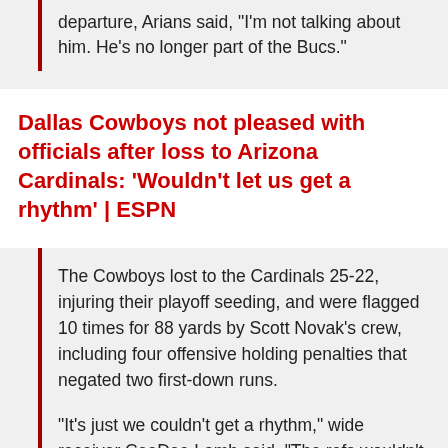departure, Arians said, "I'm not talking about him. He's no longer part of the Bucs."
Dallas Cowboys not pleased with officials after loss to Arizona Cardinals: ‘Wouldn’t let us get a rhythm’ | ESPN
The Cowboys lost to the Cardinals 25-22, injuring their playoff seeding, and were flagged 10 times for 88 yards by Scott Novak’s crew, including four offensive holding penalties that negated two first-down runs.
“It’s just we couldn’t get a rhythm,” wide receiver CeeDee Lamb said. “The refs wouldn’t let us get a rhythm.”
Added defensive end DeMarcus Lawrence: “I’m